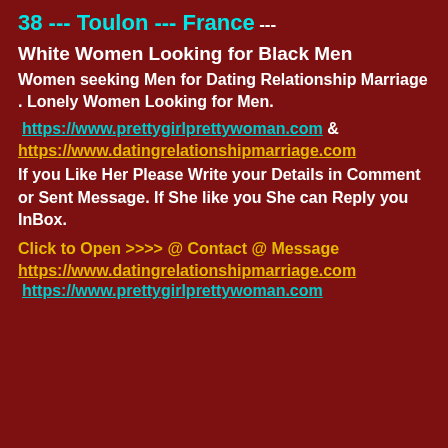38 --- Toulon --- France
---
White Women Looking for Black Men
Women seeking Men for Dating Relationship Marriage . Lonely Women Looking for Men.
https://www.prettygirlprettywoman.com & https://www.datingrelationshipmarriage.com
If you Like Her Please Write your Details in Comment or Sent Message. If She like you She can Reply you InBox.
Click to Open >>>> @ Contact  @ Message
https://www.datingrelationshipmarriage.com
https://www.prettygirlprettywoman.com